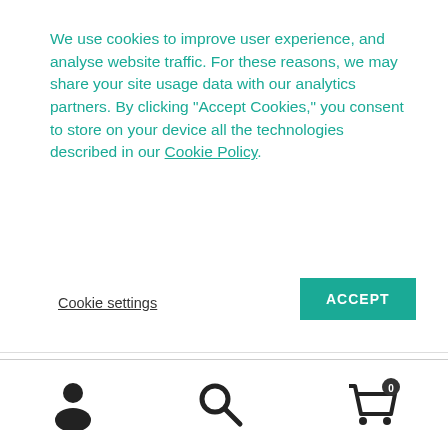We use cookies to improve user experience, and analyse website traffic. For these reasons, we may share your site usage data with our analytics partners. By clicking “Accept Cookies,” you consent to store on your device all the technologies described in our Cookie Policy.
Cookie settings
ACCEPT
Vitamin C.
READ MORE
[Figure (illustration): Footer navigation bar with three icons: a person/account icon on the left, a search/magnifier icon in the center, and a shopping cart icon with a badge showing 0 on the right.]